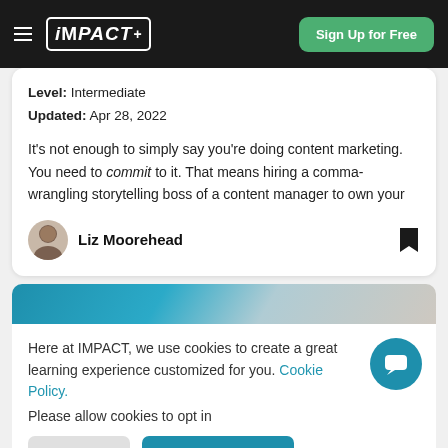iMPACT+ | Sign Up for Free
Level: Intermediate
Updated: Apr 28, 2022
It's not enough to simply say you’re doing content marketing. You need to commit to it. That means hiring a comma-wrangling storytelling boss of a content manager to own your
Liz Moorehead
[Figure (photo): Blue gradient background with partial photo of a person]
Here at IMPACT, we use cookies to create a great learning experience customized for you. Cookie Policy.

Please allow cookies to opt in
Decline | Allow Cookies